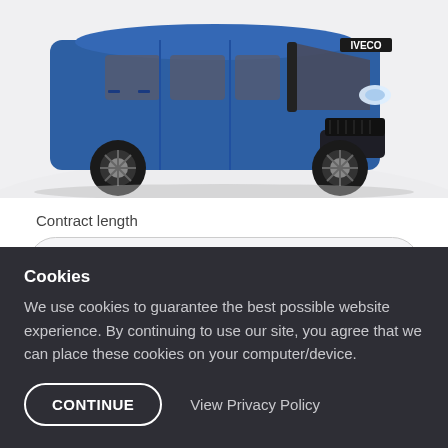[Figure (photo): Blue IVECO Daily van photographed from a front three-quarter angle on a white/light grey background]
Contract length
48 months
Annual mileage
10,000 miles
Cookies
We use cookies to guarantee the best possible website experience. By continuing to use our site, you agree that we can place these cookies on your computer/device.
CONTINUE
View Privacy Policy